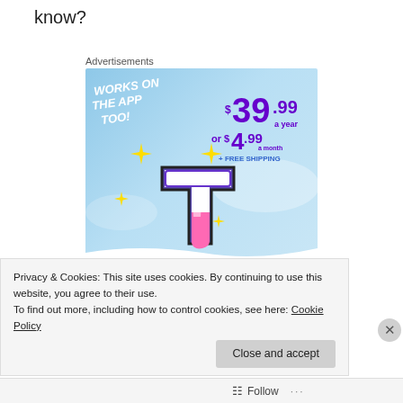know?
Advertisements
[Figure (screenshot): Tumblr Ad-Free Browsing advertisement banner showing the Tumblr 't' logo with sparkles on a blue sky background, text: WORKS ON THE APP TOO!, $39.99 a year or $4.99 a month + FREE SHIPPING, TUMBLR AD-FREE BROWSING]
Privacy & Cookies: This site uses cookies. By continuing to use this website, you agree to their use.
To find out more, including how to control cookies, see here: Cookie Policy
Close and accept
Follow